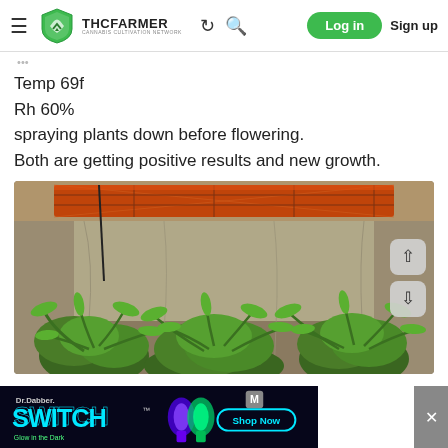THC FARMER — CANNABIS CULTIVATION NETWORK | Log in | Sign up
Temp 69f
Rh 60%
spraying plants down before flowering.
Both are getting positive results and new growth.
[Figure (photo): Interior of a cannabis grow tent showing plants in vegetative stage under a large LED grow light panel. The tent has a silver reflective lining. Multiple cannabis plants with green fan leaves are visible in the lower portion. Navigation arrows (up and down) appear on the right side of the image.]
[Figure (photo): Advertisement banner for Dr. Dabber SWITCH Glow in the Dark with glowing blue and green dab rigs on dark background with Shop Now button and M badge.]